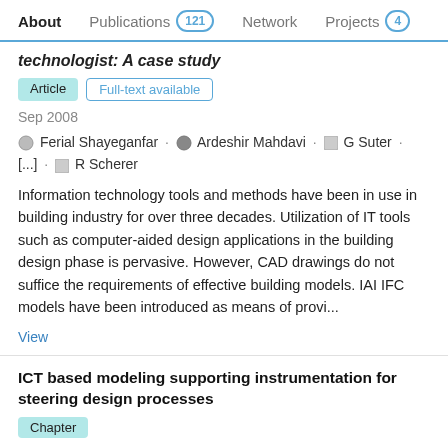About  Publications 121  Network  Projects 4
technologist: A case study
Article  Full-text available
Sep 2008
Ferial Shayeganfar · Ardeshir Mahdavi · G Suter · [...] · R Scherer
Information technology tools and methods have been in use in building industry for over three decades. Utilization of IT tools such as computer-aided design applications in the building design phase is pervasive. However, CAD drawings do not suffice the requirements of effective building models. IAI IFC models have been introduced as means of provi...
View
ICT based modeling supporting instrumentation for steering design processes
Chapter
Sep 2008